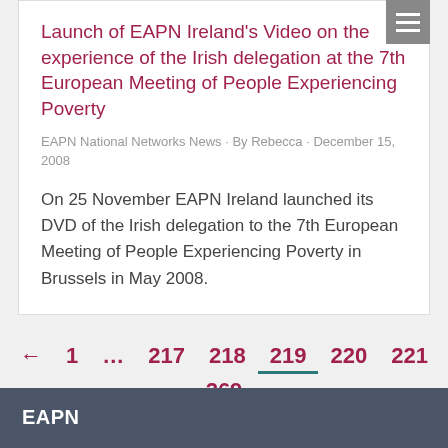Launch of EAPN Ireland's Video on the experience of the Irish delegation at the 7th European Meeting of People Experiencing Poverty
EAPN National Networks News · By Rebecca · December 15, 2008
On 25 November EAPN Ireland launched its DVD of the Irish delegation to the 7th European Meeting of People Experiencing Poverty in Brussels in May 2008.
← 1 … 217 218 219 220 221 … 269 →
EAPN